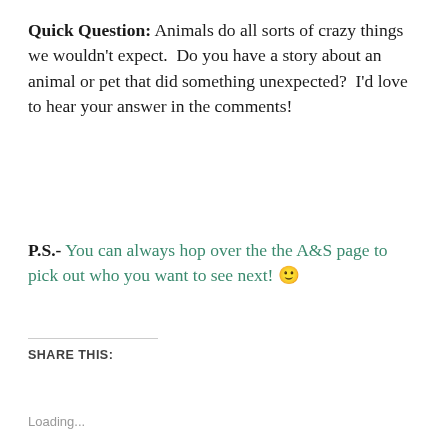Quick Question: Animals do all sorts of crazy things we wouldn't expect.  Do you have a story about an animal or pet that did something unexpected?  I'd love to hear your answer in the comments!
P.S.- You can always hop over the the A&S page to pick out who you want to see next! 🙂
SHARE THIS:
Tweet
Loading...